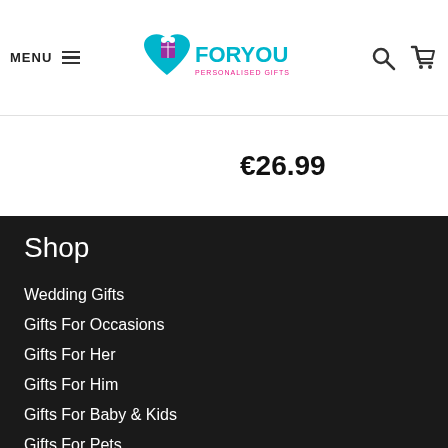MENU | ForYou Personalised Gifts | [search icon] [cart icon]
€26.99
Shop
Wedding Gifts
Gifts For Occasions
Gifts For Her
Gifts For Him
Gifts For Baby & Kids
Gifts For Pets
Corporate Gifts
My Account